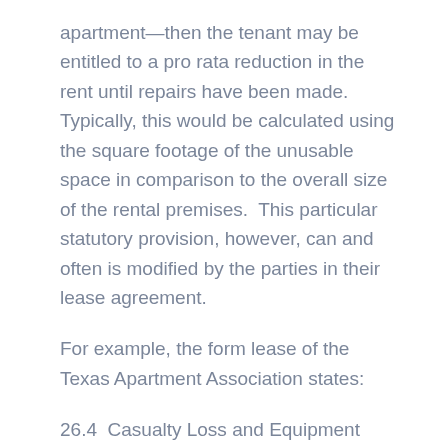apartment—then the tenant may be entitled to a pro rata reduction in the rent until repairs have been made.  Typically, this would be calculated using the square footage of the unusable space in comparison to the overall size of the rental premises.  This particular statutory provision, however, can and often is modified by the parties in their lease agreement.
For example, the form lease of the Texas Apartment Association states:
26.4  Casualty Loss and Equipment Repair. We'll act with customary diligence to make repairs and reconnections, taking into